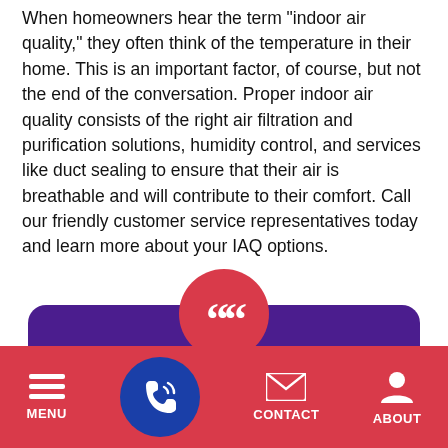When homeowners hear the term "indoor air quality," they often think of the temperature in their home. This is an important factor, of course, but not the end of the conversation. Proper indoor air quality consists of the right air filtration and purification solutions, humidity control, and services like duct sealing to ensure that their air is breathable and will contribute to their comfort. Call our friendly customer service representatives today and learn more about your IAQ options.
[Figure (infographic): Purple rounded rectangle with a red circle containing white quotation marks at the top center, and bold white text reading 'Take It From Our' at the bottom.]
[Figure (logo): Google reCAPTCHA badge overlay with blue/red spinning arrows logo and Privacy - Terms links.]
[Figure (infographic): Red bottom navigation bar with MENU (hamburger icon), a blue circle phone/call icon in center, CONTACT (envelope icon), and ABOUT (person icon).]